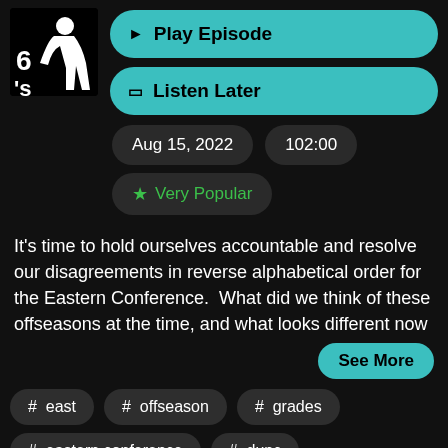[Figure (logo): Podcast logo — white silhouette figure on black background with stylized letters]
Play Episode
Listen Later
Aug 15, 2022
102:00
Very Popular
It's time to hold ourselves accountable and resolve our disagreements in reverse alphabetical order for the Eastern Conference.  What did we think of these offseasons at the time, and what looks different now
See More
# east
# offseason
# grades
# eastern conference
# dunc